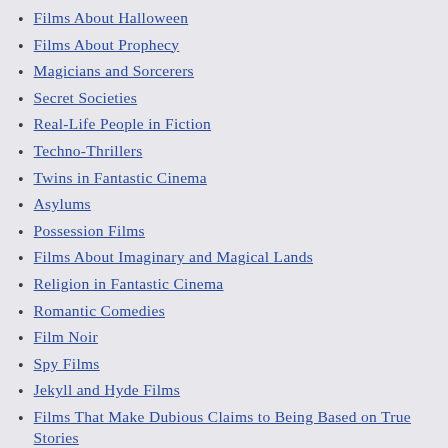Films About Halloween
Films About Prophecy
Magicians and Sorcerers
Secret Societies
Real-Life People in Fiction
Techno-Thrillers
Twins in Fantastic Cinema
Asylums
Possession Films
Films About Imaginary and Magical Lands
Religion in Fantastic Cinema
Romantic Comedies
Film Noir
Spy Films
Jekyll and Hyde Films
Films That Make Dubious Claims to Being Based on True Stories
Coming of Age Stories in Fantastic Cinema
Films About Cryogenics and Suspended Animation